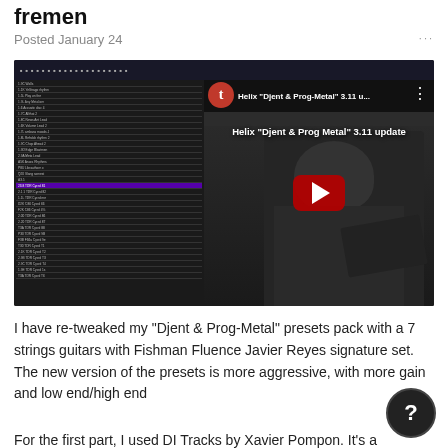fremen
Posted January 24
[Figure (screenshot): YouTube video thumbnail showing Helix Djent & Prog-Metal 3.11 update video with a guitarist playing a 7-string guitar on the right side and a software preset list on the left side. Title text reads: Helix "Djent & Prog Metal" 3.11 update]
I have re-tweaked my "Djent & Prog-Metal" presets pack with a 7 strings guitars with Fishman Fluence Javier Reyes signature set. The new version of the presets is more aggressive, with more gain and low end/high end
For the first part, I used DI Tracks by Xavier Pompon. It's a